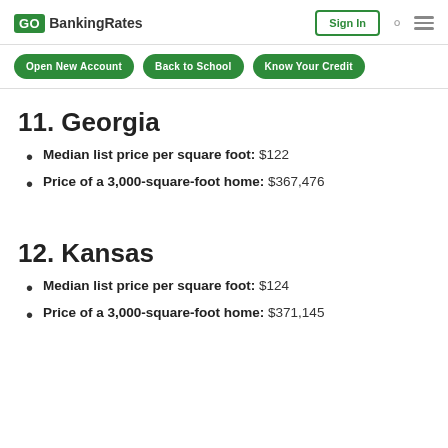GO BankingRates | Sign In
11. Georgia
Median list price per square foot: $122
Price of a 3,000-square-foot home: $367,476
12. Kansas
Median list price per square foot: $124
Price of a 3,000-square-foot home: $371,145